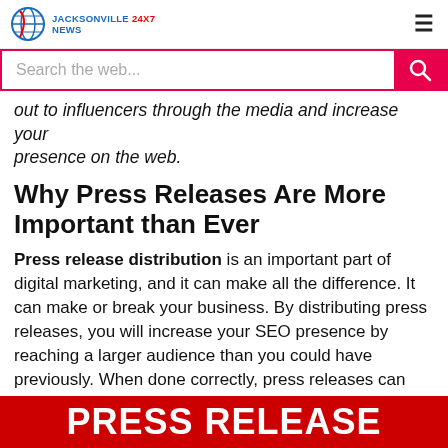Jacksonville 24x7 News — site header with logo and hamburger menu
Search the web...
out to influencers through the media and increase your presence on the web.
Why Press Releases Are More Important than Ever
Press release distribution is an important part of digital marketing, and it can make all the difference. It can make or break your business. By distributing press releases, you will increase your SEO presence by reaching a larger audience than you could have previously. When done correctly, press releases can help your business in a variety of ways. If you write an optimized press release, it will reach more readers and increase your SERP rankings.
[Figure (other): Red banner with yellow background showing 'PRESS RELEASE' text at bottom of page]